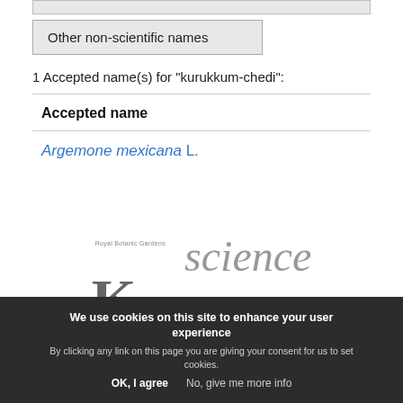| Other non-scientific names |
| --- |
1 Accepted name(s) for "kurukkum-chedi":
Accepted name
Argemone mexicana L.
[Figure (logo): Royal Botanic Gardens Kew Science logo]
We use cookies on this site to enhance your user experience
By clicking any link on this page you are giving your consent for us to set cookies.
OK, I agree    No, give me more info